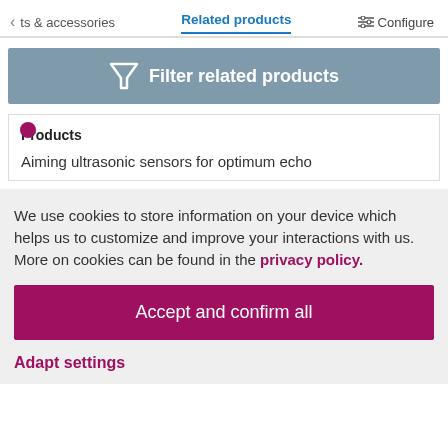ts & accessories   Related products   Configure
[Figure (screenshot): Filter related products button with funnel icon on a steel-blue background]
Products
Aiming ultrasonic sensors for optimum echo
We use cookies to store information on your device which helps us to customize and improve your interactions with us. More on cookies can be found in the privacy policy.
Accept and confirm all
Adapt settings